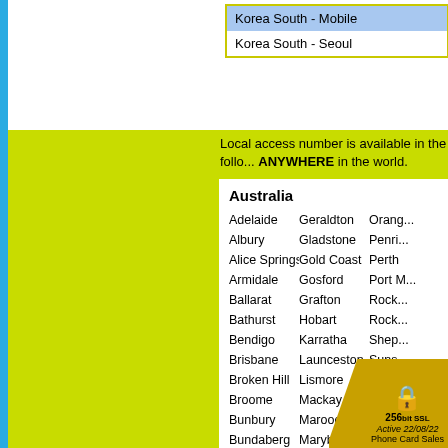Korea South - Mobile
Korea South - Seoul
Local access number is available in the following cities. You can also use this card from ANYWHERE in the world.
Australia
Adelaide
Geraldton
Orang...
Albury
Gladstone
Penri...
Alice Springs
Gold Coast
Perth
Armidale
Gosford
Port M...
Ballarat
Grafton
Rock...
Bathurst
Hobart
Rock...
Bendigo
Karratha
Shep...
Brisbane
Launceston
Suns...
Broken Hill
Lismore
Sydn...
Broome
Mackay
Tamw...
Bunbury
Maroochydore
Toow...
Bundaberg
Maryborough
Tow...
Cairns
Melbourne
...
Campbelltown
Mildura
Canberra
Mount Gamb...
Coffs Harbour
Mt Isa
Darwin
Murry A...